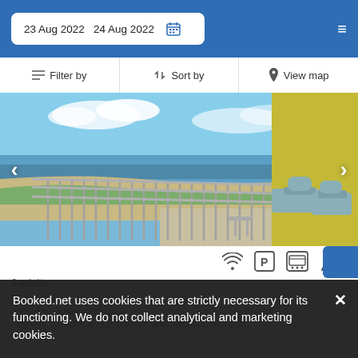23 Aug 2022  24 Aug 2022
Filter by  Sort by  View map
[Figure (photo): Balcony view of a beach resort with lounge chairs, metal railing, sandy beach, ocean, and blue sky with clouds. Yellow building wall on the right.]
6 adults
400 yd from Spced N spray
The villa is set near Full Throttle Spedway and has 2 air-
Booked.net uses cookies that are strictly necessary for its functioning. We do not collect analytical and marketing cookies.